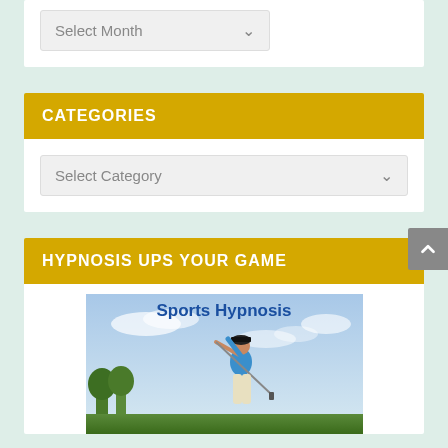[Figure (screenshot): Select Month dropdown box with light gray background and chevron arrow]
CATEGORIES
[Figure (screenshot): Select Category dropdown box with light gray background and chevron arrow]
HYPNOSIS UPS YOUR GAME
[Figure (photo): Sports Hypnosis promotional image showing a golfer in a blue shirt mid-swing against a sky background, with 'Sports Hypnosis' text in bold blue at the top]